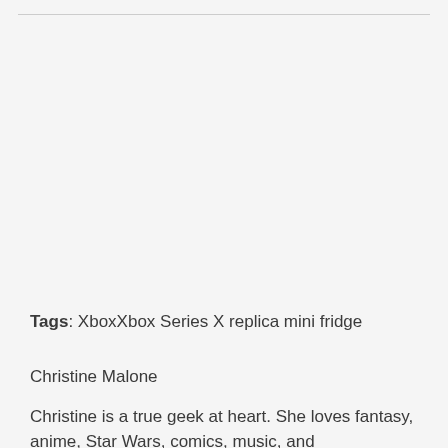Tags: XboxXbox Series X replica mini fridge
Christine Malone
Christine is a true geek at heart. She loves fantasy, anime, Star Wars, comics, music, and